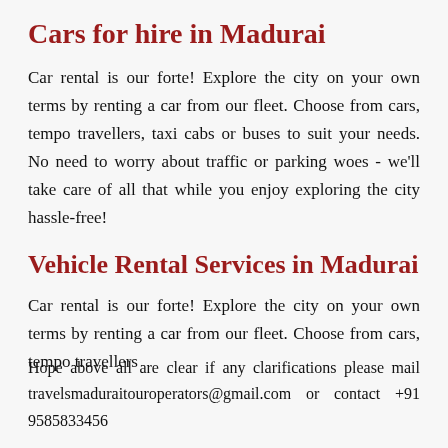Cars for hire in Madurai
Car rental is our forte! Explore the city on your own terms by renting a car from our fleet. Choose from cars, tempo travellers, taxi cabs or buses to suit your needs. No need to worry about traffic or parking woes - we'll take care of all that while you enjoy exploring the city hassle-free!
Vehicle Rental Services in Madurai
Car rental is our forte! Explore the city on your own terms by renting a car from our fleet. Choose from cars, tempo travellers
Hope above all are clear if any clarifications please mail travelsmaduraitouroperators@gmail.com or contact +91 9585833456